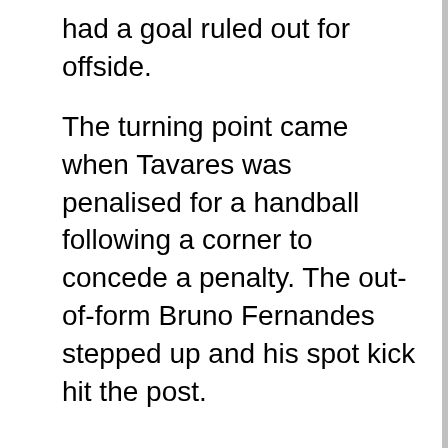had a goal ruled out for offside.
The turning point came when Tavares was penalised for a handball following a corner to concede a penalty. The out-of-form Bruno Fernandes stepped up and his spot kick hit the post.